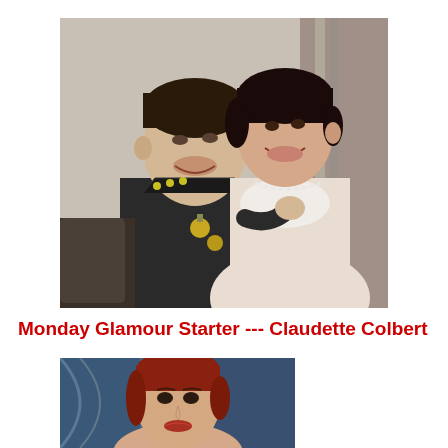[Figure (photo): Black and white vintage photograph of a man in military uniform with medals and a woman in an elegant light dress with pearl necklace, smiling at each other in an intimate pose.]
Monday Glamour Starter --- Claudette Colbert
[Figure (photo): Color photograph of a woman with red/auburn hair against a blue satin background, partially cropped at bottom of page.]